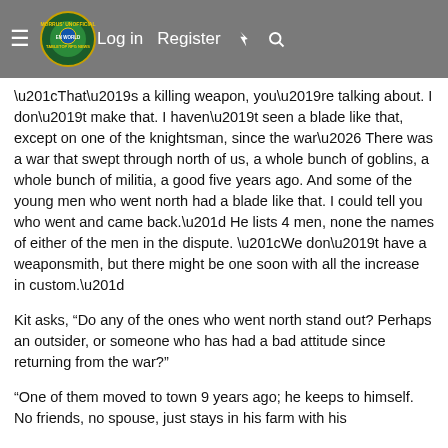Morrus' Unofficial Tabletop RPG News — Log in  Register
“That’s a killing weapon, you’re talking about. I don’t make that. I haven’t seen a blade like that, except on one of the knightsman, since the war… There was a war that swept through north of us, a whole bunch of goblins, a whole bunch of militia, a good five years ago. And some of the young men who went north had a blade like that. I could tell you who went and came back.” He lists 4 men, none the names of either of the men in the dispute. “We don’t have a weaponsmith, but there might be one soon with all the increase in custom.”
Kit asks, "Do any of the ones who went north stand out? Perhaps an outsider, or someone who has had a bad attitude since returning from the war?"
"One of them moved to town 9 years ago; he keeps to himself. No friends, no spouse, just stays in his farm with his